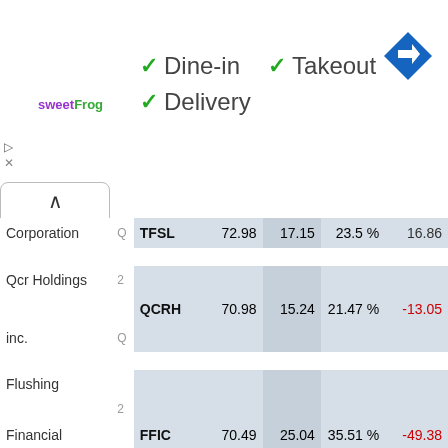[Figure (screenshot): Ad banner showing sweetFrog logo with checkmarks for Dine-in, Takeout, Delivery options and a navigation arrow icon]
| Name |  | Ticker | Price | Val | Pct | Chg |
| --- | --- | --- | --- | --- | --- | --- |
| Corporation | Q | TFSL | 72.98 | 17.15 | 23.5 % | 16.86 |
| Qcr Holdings | 2 |  |  |  |  |  |
|  |  | QCRH | 70.98 | 15.24 | 21.47 % | -13.05 |
| inc. | Q |  |  |  |  |  |
| Flushing |  |  |  |  |  |  |
|  | 2 |  |  |  |  |  |
| Financial |  | FFIC | 70.49 | 25.04 | 35.51 % | -49.38 |
|  | Q |  |  |  |  |  |
| Corporation |  |  |  |  |  |  |
| National Bank | 2 |  |  |  |  |  |